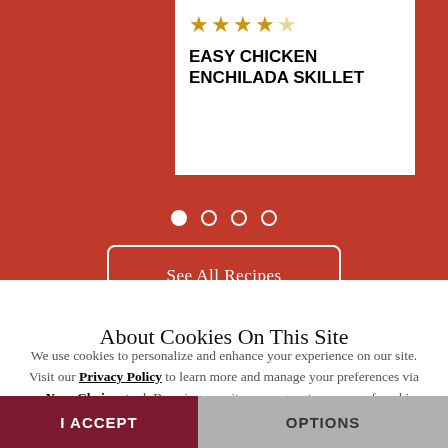[Figure (screenshot): Red background section showing a recipe card for Easy Chicken Enchilada Skillet with 4 out of 5 star rating, carousel dots, and See All Recipes button]
EASY CHICKEN ENCHILADA SKILLET
About Cookies On This Site
We use cookies to personalize and enhance your experience on our site. Visit our Privacy Policy to learn more and manage your preferences via our Your Choices tool. By using our site, you agree to our use of cookies.
I ACCEPT
OPTIONS